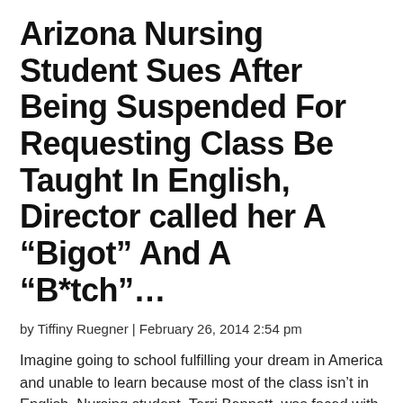Arizona Nursing Student Sues After Being Suspended For Requesting Class Be Taught In English, Director called her A “Bigot” And A “B*tch”…
by Tiffiny Ruegner | February 26, 2014 2:54 pm
Imagine going to school fulfilling your dream in America and unable to learn because most of the class isn’t in English. Nursing student, Terri Bennett, was faced with racist hate when she asked the director that her class be held in English.[1]